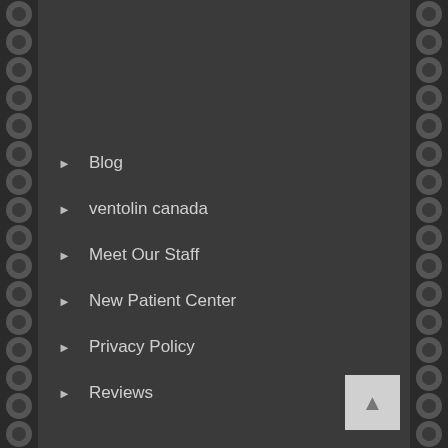Blog
ventolin canada
Meet Our Staff
New Patient Center
Privacy Policy
Reviews
cheap uk cialis tablets
Cataract without Glaucoma
online vardenafil sale usa